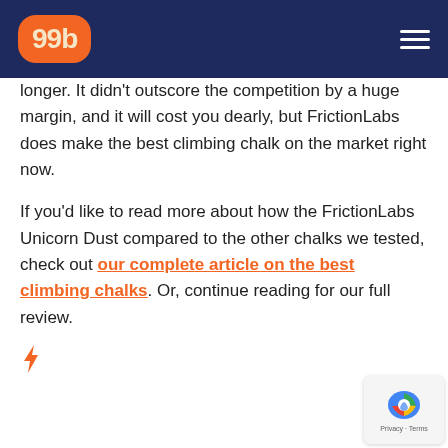99b
longer. It didn't outscore the competition by a huge margin, and it will cost you dearly, but FrictionLabs does make the best climbing chalk on the market right now.
If you'd like to read more about how the FrictionLabs Unicorn Dust compared to the other chalks we tested, check out our complete article on the best climbing chalks. Or, continue reading for our full review.
[Figure (other): Orange lightning bolt icon]